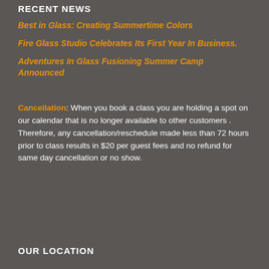RECENT NEWS
Best in Glass: Creating Summertime Colors
Fire Glass Studio Celebrates Its First Year In Business.
Adventures In Glass Fusioning Summer Camp Announced
Cancellation: When you book a class you are holding a spot on our calendar that is no longer available to other customers . Therefore, any cancellation/reschedule made less than 72 hours prior to class results in $20 per guest fees and no refund for same day cancellation or no show.
OUR LOCATION